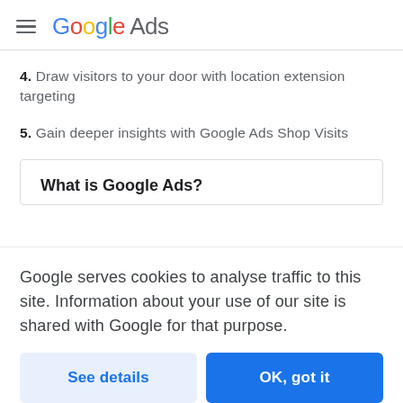Google Ads
4. Draw visitors to your door with location extension targeting
5. Gain deeper insights with Google Ads Shop Visits
What is Google Ads?
Google serves cookies to analyse traffic to this site. Information about your use of our site is shared with Google for that purpose.
See details
OK, got it